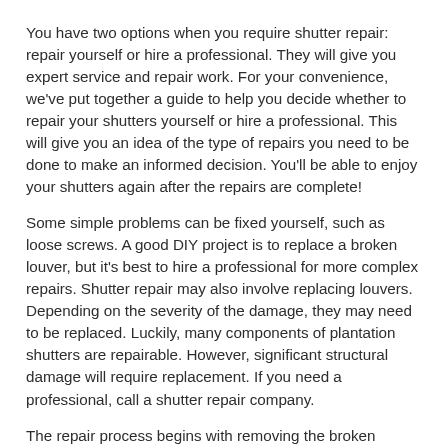You have two options when you require shutter repair: repair yourself or hire a professional. They will give you expert service and repair work. For your convenience, we've put together a guide to help you decide whether to repair your shutters yourself or hire a professional. This will give you an idea of the type of repairs you need to be done to make an informed decision. You'll be able to enjoy your shutters again after the repairs are complete!
Some simple problems can be fixed yourself, such as loose screws. A good DIY project is to replace a broken louver, but it's best to hire a professional for more complex repairs. Shutter repair may also involve replacing louvers. Depending on the severity of the damage, they may need to be replaced. Luckily, many components of plantation shutters are repairable. However, significant structural damage will require replacement. If you need a professional, call a shutter repair company.
The repair process begins with removing the broken louvers. We removed the louver pins and replaced them with mahogany dowels using a drill press. We then measured the height of the rail tenons and cut them with a mortiser. We then installed new rail tenons and replaced the old louver pins. Then, we removed the paint build-up on the louvers. Finally, we finished the project by reinstalling the shutters on the new stiles.